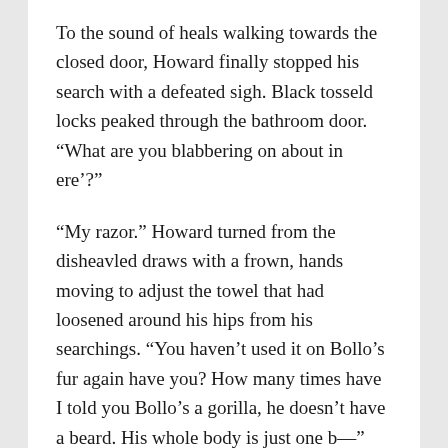To the sound of heals walking towards the closed door, Howard finally stopped his search with a defeated sigh. Black tosseld locks peaked through the bathroom door. “What are you blabbering on about in ere’?”
“My razor.” Howard turned from the disheavled draws with a frown, hands moving to adjust the towel that had loosened around his hips from his searchings. “You haven’t used it on Bollo’s fur again have you? How many times have I told you Bollo’s a gorilla, he doesn’t have a beard. His whole body is just one b—”
“Oh whateva’, I haven’t used your gross old razor, alright?” Vince rolled his eyes, walking into the bathroom and shutting the door behind him. Vince